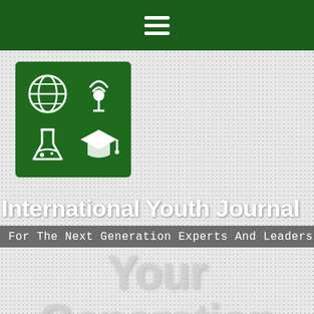≡ (hamburger menu icon)
[Figure (logo): Green square logo with four white icons: globe, podcast/microphone, beaker/flask, and graduation cap arranged in 2x2 grid]
International Youth Journal
For The Next Generation Experts And Leaders
Your Generation Counts.